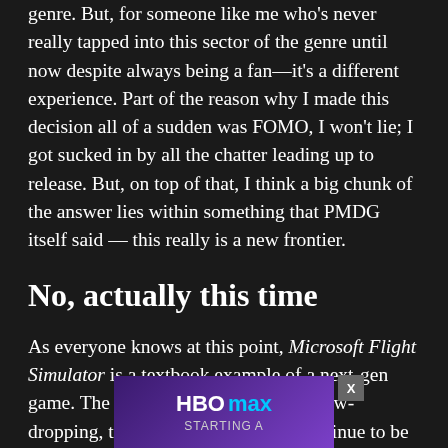genre. But, for someone like me who's never really tapped into this sector of the genre until now despite always being a fan—it's a different experience. Part of the reason why I made this decision all of a sudden was FOMO, I won't lie; I got sucked in by all the chatter leading up to release. But, on top of that, I think a big chunk of the answer lies within something that PMDG itself said — this really is a new frontier.
No, actually this time
As everyone knows at this point, Microsoft Flight Simulator is a textbook example of a next-gen game. The feature set of its engine is jaw-dropping, to the point where there continue to be so many screenshots and videos often make even longtime simmers question whether or not they're seeing in-game shot or a real
[Figure (other): HBO Max advertisement overlay with purple gradient background, showing HBO Max logo and 'STARTING' text, with an X close button]